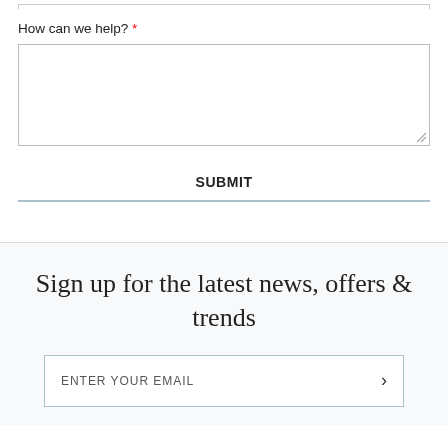How can we help? *
[Figure (screenshot): Empty textarea input box with resize handle in bottom-right corner]
SUBMIT
Sign up for the latest news, offers & trends
[Figure (screenshot): Email input field with placeholder text ENTER YOUR EMAIL and a right-arrow chevron button]